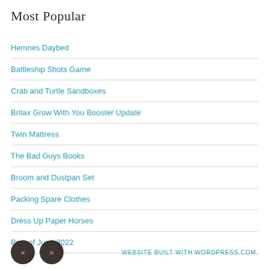Most Popular
Hemnes Daybed
Battleship Shots Game
Crab and Turtle Sandboxes
Britax Grow With You Booster Update
Twin Mattress
The Bad Guys Books
Broom and Dustpan Set
Packing Spare Clothes
Dress Up Paper Horses
Best of June 2022
WEBSITE BUILT WITH WORDPRESS.COM.